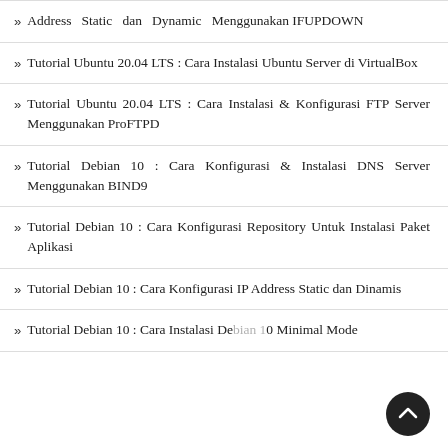» Address Static dan Dynamic Menggunakan IFUPDOWN
» Tutorial Ubuntu 20.04 LTS : Cara Instalasi Ubuntu Server di VirtualBox
» Tutorial Ubuntu 20.04 LTS : Cara Instalasi & Konfigurasi FTP Server Menggunakan ProFTPD
» Tutorial Debian 10 : Cara Konfigurasi & Instalasi DNS Server Menggunakan BIND9
» Tutorial Debian 10 : Cara Konfigurasi Repository Untuk Instalasi Paket Aplikasi
» Tutorial Debian 10 : Cara Konfigurasi IP Address Static dan Dinamis
» Tutorial Debian 10 : Cara Instalasi Debian 10 Minimal Mode